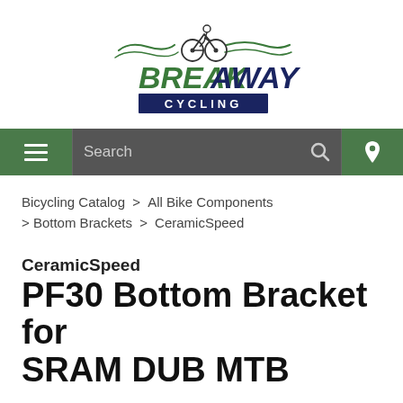[Figure (logo): Breakaway Cycling logo with stylized bicycle and rider graphic above text 'BREAK AWAY' in green and dark blue, with 'CYCLING' in white on dark navy banner below]
[Figure (screenshot): Navigation bar with hamburger menu on green background, search box on grey background with search icon, and location pin icon on green background]
Bicycling Catalog > All Bike Components > Bottom Brackets > CeramicSpeed
CeramicSpeed
PF30 Bottom Bracket for SRAM DUB MTB